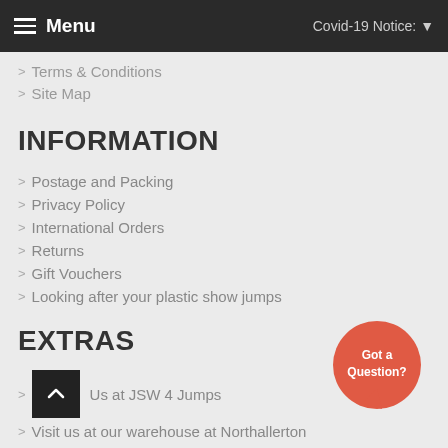Menu | Covid-19 Notice: ▼
> Terms & Conditions
> Site Map
INFORMATION
> Postage and Packing
> Privacy Policy
> International Orders
> Returns
> Gift Vouchers
> Looking after your plastic show jumps
EXTRAS
> Us at JSW 4 Jumps
> Visit us at our warehouse at Northallerton
> Testimonials
[Figure (illustration): Got a Question? speech bubble button in coral/red color]